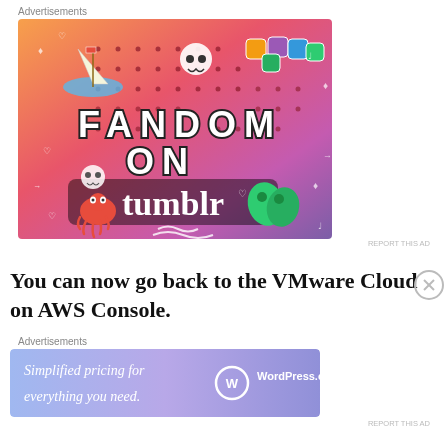Advertisements
[Figure (illustration): Tumblr advertisement banner with colorful gradient background (orange to purple), featuring the text 'FANDOM ON tumblr' with various doodle illustrations including a sailboat, skull, octopus, leaves, dice, and other whimsical drawings.]
REPORT THIS AD
You can now go back to the VMware Cloud on AWS Console.
Advertisements
[Figure (illustration): WordPress.com advertisement with purple/blue gradient background showing 'Simplified pricing for everything you need.' with WordPress.com logo on the right.]
REPORT THIS AD